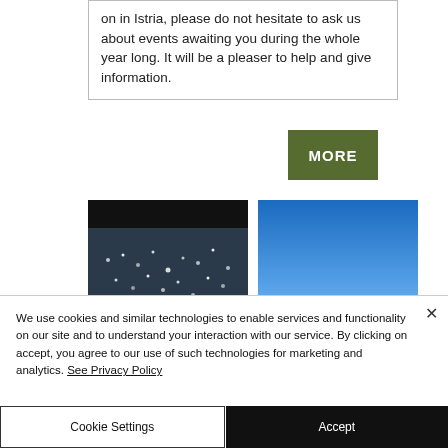on in Istria, please do not hesitate to ask us about events awaiting you during the whole year long. It will be a pleaser to help and give information.
[Figure (screenshot): Green 'MORE' button]
[Figure (photo): Dark photo showing sparkling water surface with bokeh light reflections]
[Figure (photo): Clear blue sky photo]
We use cookies and similar technologies to enable services and functionality on our site and to understand your interaction with our service. By clicking on accept, you agree to our use of such technologies for marketing and analytics. See Privacy Policy
Cookie Settings
Accept